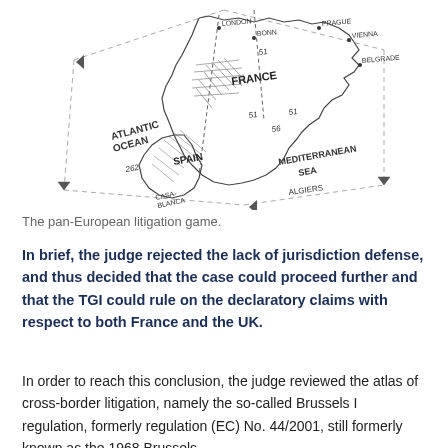[Figure (map): A hand-drawn isometric/3D perspective map of Western Europe and surrounding areas, showing labeled regions including ATLANTIC OCEAN, FRANCE, SPAIN, MEDITERRANEAN SEA, ALGIERS, BELGRADE, VIENNA, PRAGUE, LONDON, BONN, CASABLANCA, and numerical labels. The map is drawn in a sketch/illustration style with hatching for certain areas.]
The pan-European litigation game.
In brief, the judge rejected the lack of jurisdiction defense, and thus decided that the case could proceed further and that the TGI could rule on the declaratory claims with respect to both France and the UK.
In order to reach this conclusion, the judge reviewed the atlas of cross-border litigation, namely the so-called Brussels I regulation, formerly regulation (EC) No. 44/2001, still formerly known as the 1968 Brussels